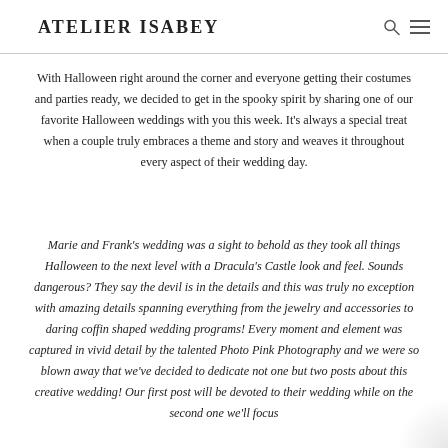ATELIER ISABEY
With Halloween right around the corner and everyone getting their costumes and parties ready, we decided to get in the spooky spirit by sharing one of our favorite Halloween weddings with you this week. It's always a special treat when a couple truly embraces a theme and story and weaves it throughout every aspect of their wedding day.
Marie and Frank's wedding was a sight to behold as they took all things Halloween to the next level with a Dracula's Castle look and feel. Sounds dangerous? They say the devil is in the details and this was truly no exception with amazing details spanning everything from the jewelry and accessories to daring coffin shaped wedding programs! Every moment and element was captured in vivid detail by the talented Photo Pink Photography and we were so blown away that we've decided to dedicate not one but two posts about this creative wedding! Our first post will be devoted to their wedding while on the second one we'll focus